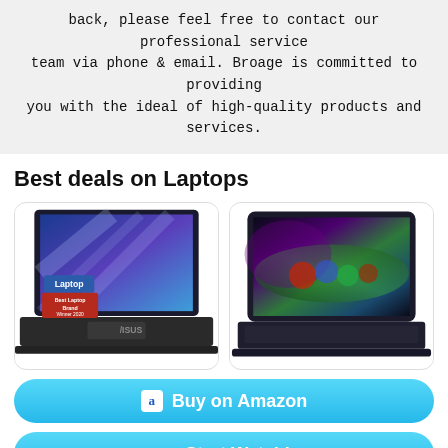back, please feel free to contact our professional service team via phone & email. Broage is committed to providing you with the ideal of high-quality products and services.
Best deals on Laptops
[Figure (photo): Two laptops displayed side by side: left is an ASUS laptop with blue diagonal wallpaper and a 'Laptop Best Laptop Brand Winner 2020' badge; right is a dark convertible laptop/tablet showing a colorful aurora borealis display.]
Buy on Amazon
Start Watching